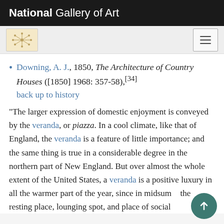National Gallery of Art
Downing, A. J., 1850, The Architecture of Country Houses ([1850] 1968: 357-58),[34] back up to history
"The larger expression of domestic enjoyment is conveyed by the veranda, or piazza. In a cool climate, like that of England, the veranda is a feature of little importance; and the same thing is true in a considerable degree in the northern part of New England. But over almost the whole extent of the United States, a veranda is a positive luxury in all the warmer part of the year, since in midsum... the resting place, lounging spot, and place of social